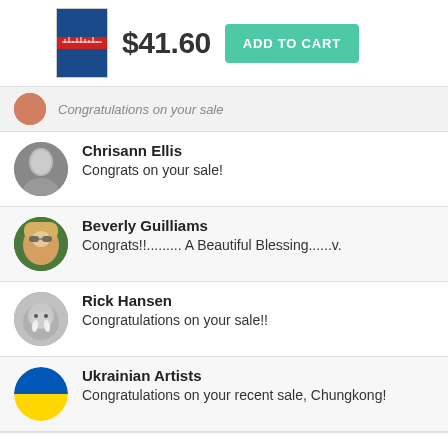[Figure (other): Product thumbnail - book/album cover with red and blue design and waveform graphic]
$41.60
ADD TO CART
Congratulations on your sale (partially visible, truncated)
Chrisann Ellis
Congrats on your sale!
Beverly Guilliams
Congrats!!......... A Beautiful Blessing......v.
Rick Hansen
Congratulations on your sale!!
Ukrainian Artists
Congratulations on your recent sale, Chungkong!
View Additional Comments
Post a Comment